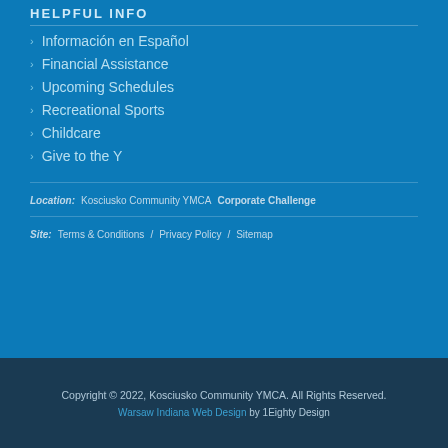HELPFUL INFO
Información en Español
Financial Assistance
Upcoming Schedules
Recreational Sports
Childcare
Give to the Y
Location:  Kosciusko Community YMCA  Corporate Challenge
Site:  Terms & Conditions  /  Privacy Policy  /  Sitemap
Copyright © 2022, Kosciusko Community YMCA. All Rights Reserved. Warsaw Indiana Web Design by 1Eighty Design